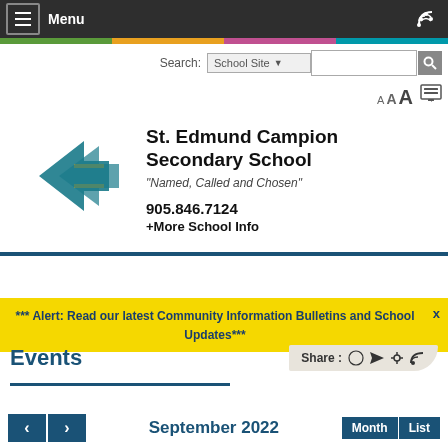Menu
Search: School Site
[Figure (logo): St. Edmund Campion Secondary School logo — stylized fish/arrow mark in teal and gold]
St. Edmund Campion Secondary School
"Named, Called and Chosen"
905.846.7124
+More School Info
*** Alert: Read our latest Community Information Bulletins and School Updates***
Events
Share : 🗸 ↗ ⋯ RSS
September 2022
Month  List